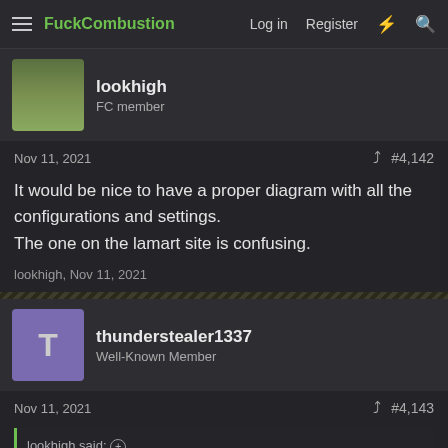FuckCombustion — Log in  Register
lookhigh
FC member
Nov 11, 2021   #4,142
It would be nice to have a proper diagram with all the configurations and settings.
The one on the lamart site is confusing.
lookhigh, Nov 11, 2021
thunderstealer1337
Well-Known Member
Nov 11, 2021   #4,143
lookhigh said: ⊕
It would be nice to have a proper diagram with all the configurations and settings.